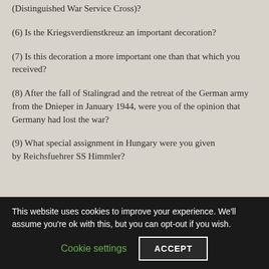(Distinguished War Service Cross)?
(6) Is the Kriegsverdienstkreuz an important decoration?
(7) Is this decoration a more important one than that which you received?
(8) After the fall of Stalingrad and the retreat of the German army from the Dnieper in January 1944, were you of the opinion that Germany had lost the war?
(9) What special assignment in Hungary were you given by Reichsfuehrer SS Himmler?
This website uses cookies to improve your experience. We'll assume you're ok with this, but you can opt-out if you wish.